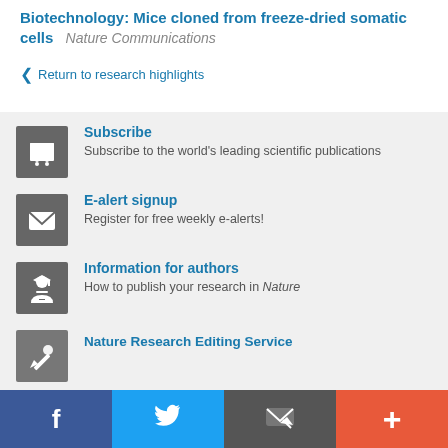Biotechnology: Mice cloned from freeze-dried somatic cells  Nature Communications
< Return to research highlights
Subscribe
Subscribe to the world's leading scientific publications
E-alert signup
Register for free weekly e-alerts!
Information for authors
How to publish your research in Nature
Nature Research Editing Service
Facebook  Twitter  Email  +